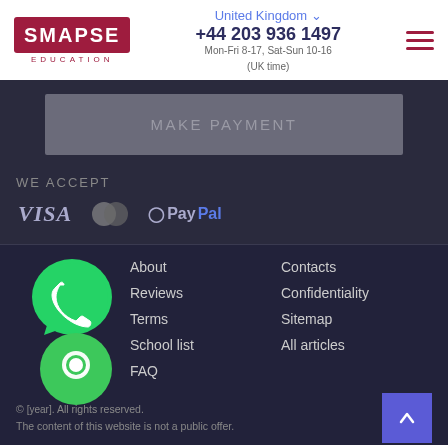[Figure (logo): SMAPSE EDUCATION logo in red/crimson box]
United Kingdom ∨
+44 203 936 1497
Mon-Fri 8-17, Sat-Sun 10-16 (UK time)
[Figure (illustration): Hamburger menu icon (three crimson lines)]
MAKE PAYMENT
WE ACCEPT
[Figure (logo): VISA, Mastercard, and PayPal payment logos]
About
Reviews
Terms
School list
FAQ
Contacts
Confidentiality
Sitemap
All articles
[Figure (illustration): WhatsApp green chat bubble icon]
[Figure (illustration): Green chat/comment bubble icon]
© [year]. All rights reserved.
The content of this website is not a public offer.